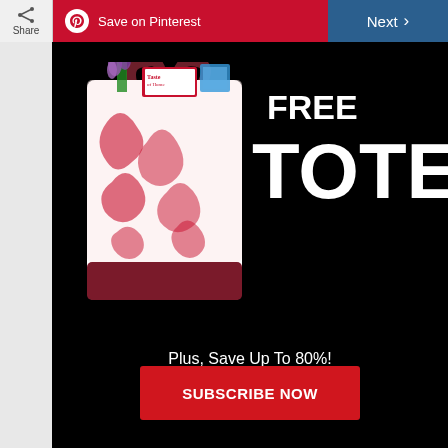Share | Save on Pinterest | Next >
[Figure (photo): Advertisement showing a red and white toile tote bag filled with Taste of Home magazines and green plants on a black background, with text FREE TOTE, Plus Save Up To 80%, and a Subscribe Now button]
FREE
TOTE
Plus, Save Up To 80%!
SUBSCRIBE NOW